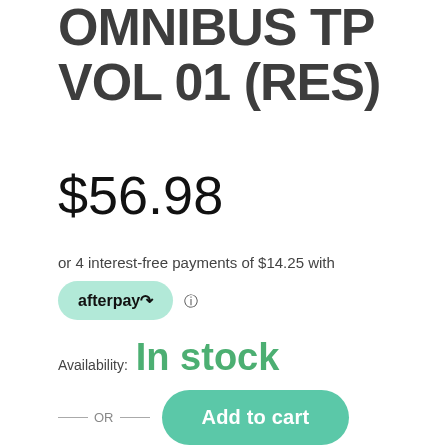OMNIBUS TP VOL 01 (RES)
$56.98
or 4 interest-free payments of $14.25 with afterpay
Availability: In stock
— OR — Add to cart